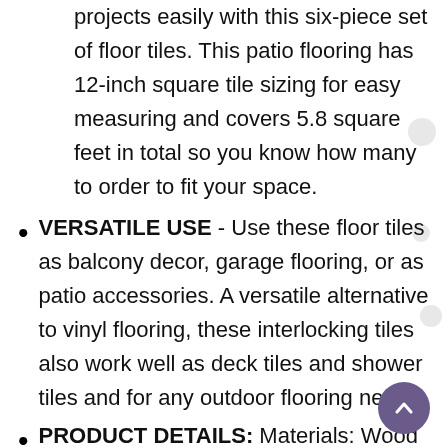projects easily with this six-piece set of floor tiles. This patio flooring has 12-inch square tile sizing for easy measuring and covers 5.8 square feet in total so you know how many to order to fit your space.
VERSATILE USE - Use these floor tiles as balcony decor, garage flooring, or as patio accessories. A versatile alternative to vinyl flooring, these interlocking tiles also work well as deck tiles and shower tiles and for any outdoor flooring needs.
PRODUCT DETAILS: Materials: Wood and Plastic Composite. Dimensions: Individual Tile (L) 12" x (W) 12" x (H) 0.9"; Coverage Area: